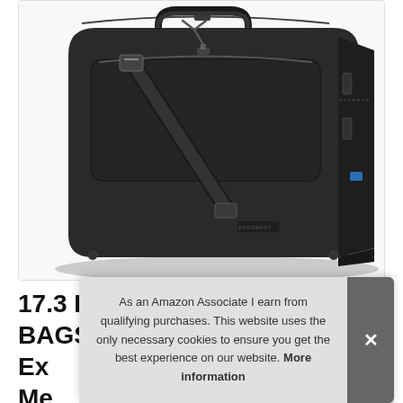[Figure (photo): A dark gray/black BAGSMART laptop messenger bag photographed at an angle, showing the front zipper pocket, main compartment, and shoulder strap. The bag is large and structured, displayed against a white background within a light-bordered container.]
17.3 Inch Laptop Bag BAGSMART Ex Me
As an Amazon Associate I earn from qualifying purchases. This website uses the only necessary cookies to ensure you get the best experience on our website. More information